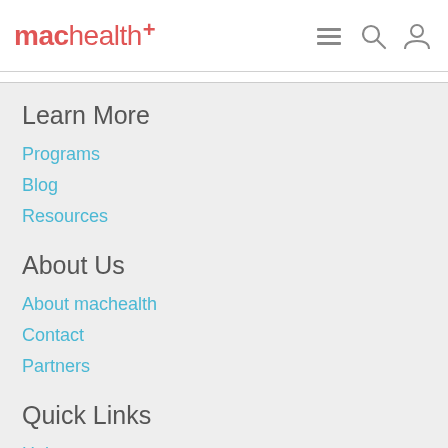machealth+
Learn More
Programs
Blog
Resources
About Us
About machealth
Contact
Partners
Quick Links
Help